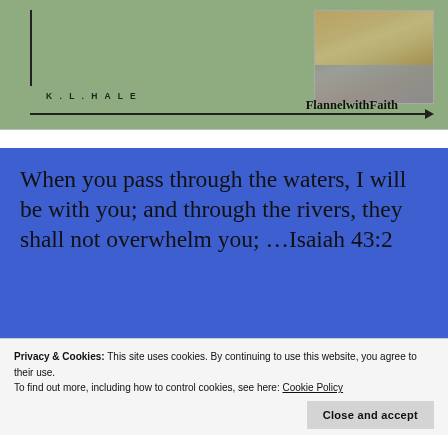[Figure (illustration): Green banner with vertical line, K.L. HALE author text, landscape photo on right, and 'FlannelwithFaith' text with arrow at bottom]
When you pass through the waters, I will be with you; and through the rivers, they shall not overwhelm you; …Isaiah 43:2
Privacy & Cookies: This site uses cookies. By continuing to use this website, you agree to their use.
To find out more, including how to control cookies, see here: Cookie Policy
Close and accept
Wilson side of my family, will be forever